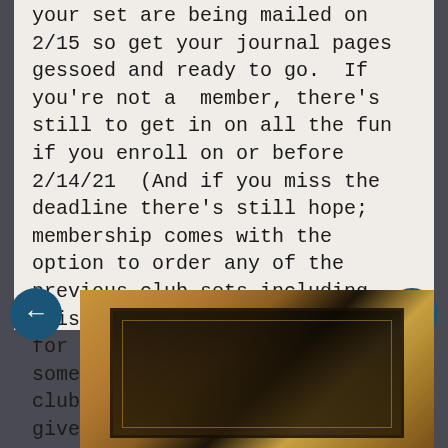your set are being mailed on 2/15 so get your journal pages gessoed and ready to go.  If you're not a  member, there's still to get in on all the fun if you enroll on or before 2/14/21  (And if you miss the deadline there's still hope; membership comes with the option to order any of the previous club sets including this one and the set I designed for December 2020.)  I'll add some more information about the club at the end of this post to give you a better feel for what you get.  I'll also add a link to Gwen's reveal video where she talks about her inspiration for the designs and reveals her project for the club this month, and links to the projects that the rest of the Artist Tribe created with the set.
[Figure (photo): Photo of an ornate decorated book or journal with gold and dark patterned cover, viewed from above at an angle]